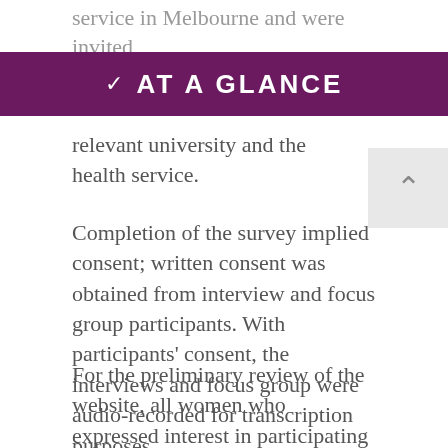service in Melbourne and were invited
AT A GLANCE
relevant university and the health service.
Completion of the survey implied consent; written consent was obtained from interview and focus group participants. With participants' consent, the interviews and focus group were audio-recorded for transcription purposes.
For the preliminary review of the website, all women who expressed interest in participating in phase 1 of the research were contacted and invited to